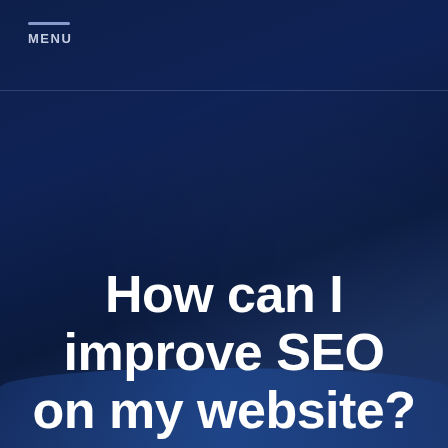MENU
How can I improve SEO on my website?